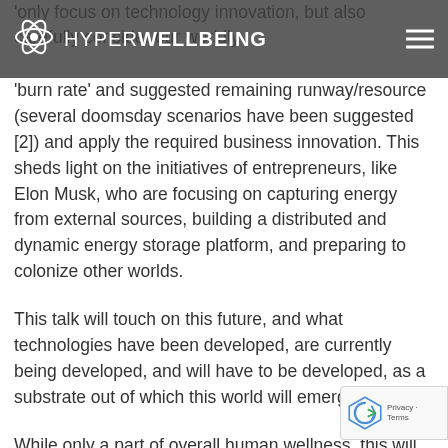HYPERWELLBEING
'burn rate' and suggested remaining runway/resource (several doomsday scenarios have been suggested [2]) and apply the required business innovation. This sheds light on the initiatives of entrepreneurs, like Elon Musk, who are focusing on capturing energy from external sources, building a distributed and dynamic energy storage platform, and preparing to colonize other worlds.
This talk will touch on this future, and what technologies have been developed, are currently being developed, and will have to be developed, as a substrate out of which this world will emerge.
While only a part of overall human wellness, this will discuss how an integrative technology (comb... wearable devices, a needs based wearable device